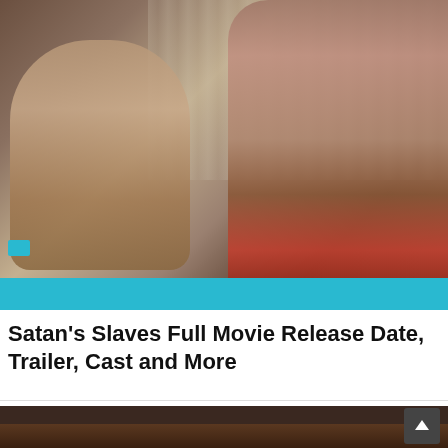[Figure (photo): Movie still from Satan's Slaves showing two women in a dramatic scene, one appearing frightened with mouth open, the other reaching toward her. Indoor setting with curtains in background. A cyan/teal bar overlays the bottom of the image.]
Satan's Slaves Full Movie Release Date, Trailer, Cast and More
[Figure (screenshot): Thumbnail image at bottom showing a second movie still from Satan's Slaves: Communion Full Movie Release Date, with a cyan bar caption overlay and a dark scroll-to-top button in the bottom right corner.]